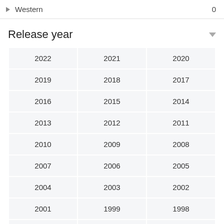Western  0
Release year
| 2022 | 2021 | 2020 |
| 2019 | 2018 | 2017 |
| 2016 | 2015 | 2014 |
| 2013 | 2012 | 2011 |
| 2010 | 2009 | 2008 |
| 2007 | 2006 | 2005 |
| 2004 | 2003 | 2002 |
| 2001 | 1999 | 1998 |
| 1997 | 1996 | 1995 |
| 1994 | 1993 | 1992 |